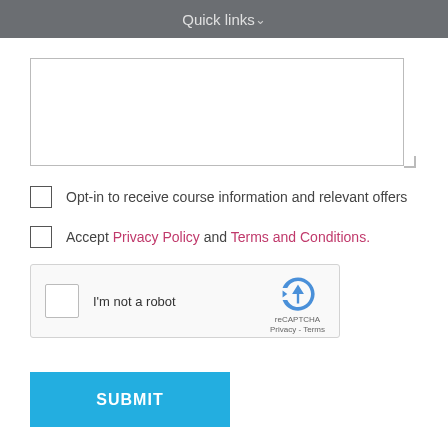Quick links
[Figure (other): Textarea form field (empty text input area)]
Opt-in to receive course information and relevant offers
Accept Privacy Policy and Terms and Conditions.
[Figure (other): reCAPTCHA widget with checkbox labeled 'I'm not a robot' and reCAPTCHA logo]
SUBMIT
Our flexible training works around your busy schedule.